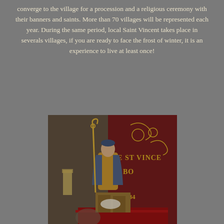converge to the village for a procession and a religious ceremony with their banners and saints. More than 70 villages will be represented each year. During the same period, local Saint Vincent takes place in severals villages, if you are ready to face the frost of winter, it is an experience to live at least once!
[Figure (photo): A religious statue of Saint Vincent on a pedestal placed on a red velvet platform, holding a staff with a cross at the top. In the background, a dark red banner with gold lettering reads 'DE ST VINCE... DE BO... 184...' with ornate gold embroidery.]